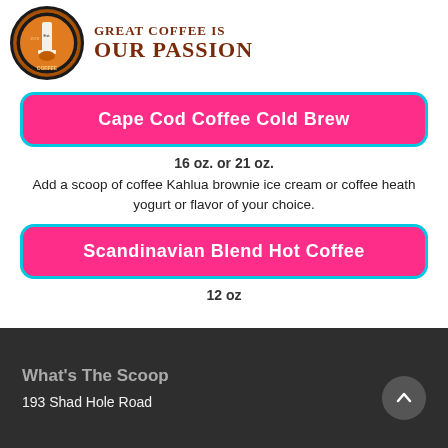[Figure (logo): Cape Cod Coffee circular logo with lighthouse illustration, Est. 1970, with tagline GREAT COFFEE IS OUR PASSION in brown serif text]
Cape Cod Coffee Cold Brew
16 oz. or 21 oz.
Add a scoop of coffee Kahlua brownie ice cream or coffee heath yogurt or flavor of your choice.
Scandinavian Blend Hot Coffee
12 oz
What's The Scoop
193 Shad Hole Road